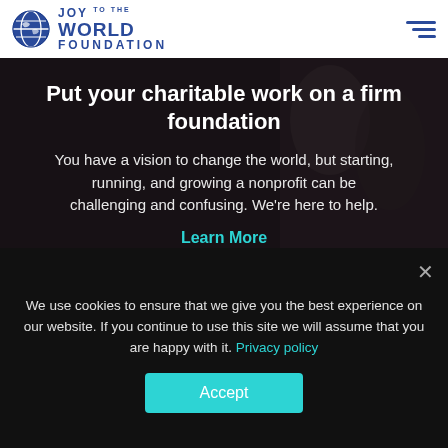JOY TO THE WORLD FOUNDATION
[Figure (screenshot): Dark hero image showing children sitting on steps in a dimly lit environment]
Put your charitable work on a firm foundation
You have a vision to change the world, but starting, running, and growing a nonprofit can be challenging and confusing. We're here to help.
Learn More
We use cookies to ensure that we give you the best experience on our website. If you continue to use this site we will assume that you are happy with it. Privacy policy
Accept